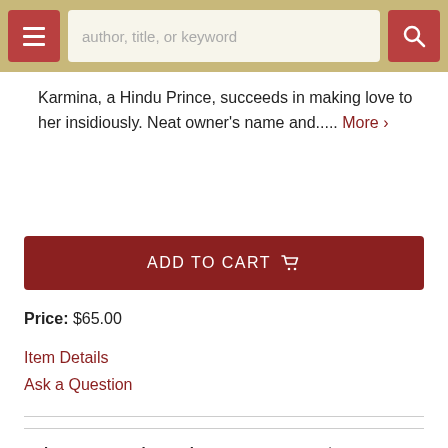author, title, or keyword [search bar]
Karmina, a Hindu Prince, succeeds in making love to her insidiously. Neat owner's name and..... More >
ADD TO CART
Price: $65.00
Item Details
Ask a Question
Robert Gavora Fine and Rare Books
PO Box 448
Tulsa OR 97548
Search Our Inventory
Browse Categories
New Arrivals
Favorite Items